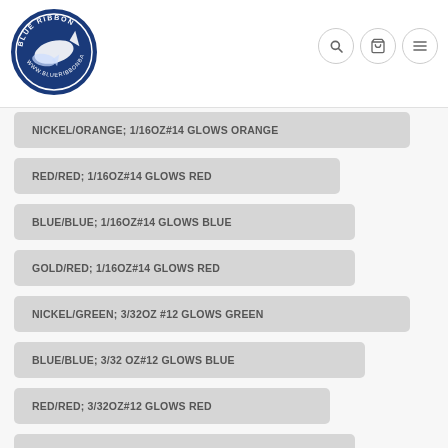Blue Ribbon Bait - navigation header with logo and icons
NICKEL/ORANGE; 1/16OZ#14 GLOWS ORANGE
RED/RED; 1/16OZ#14 GLOWS RED
BLUE/BLUE; 1/16OZ#14 GLOWS BLUE
GOLD/RED; 1/16OZ#14 GLOWS RED
NICKEL/GREEN; 3/32OZ #12 GLOWS GREEN
BLUE/BLUE; 3/32 OZ#12 GLOWS BLUE
RED/RED; 3/32OZ#12 GLOWS RED
GOLD/RED; 3/32OZ #12 GLOWS RED